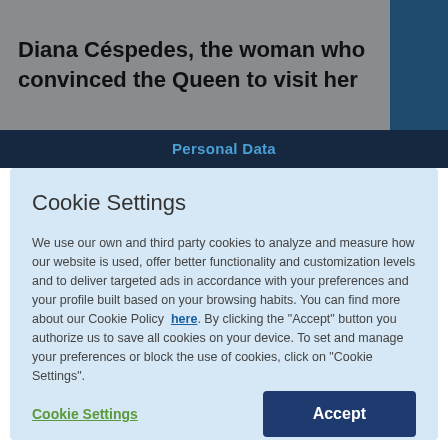Diana Céspedes, the woman who convinced the Queen to visit her
Personal Data
Cookie Settings
We use our own and third party cookies to analyze and measure how our website is used, offer better functionality and customization levels and to deliver targeted ads in accordance with your preferences and your profile built based on your browsing habits. You can find more about our Cookie Policy here. By clicking the "Accept" button you authorize us to save all cookies on your device. To set and manage your preferences or block the use of cookies, click on "Cookie Settings".
Cookie Settings
Accept